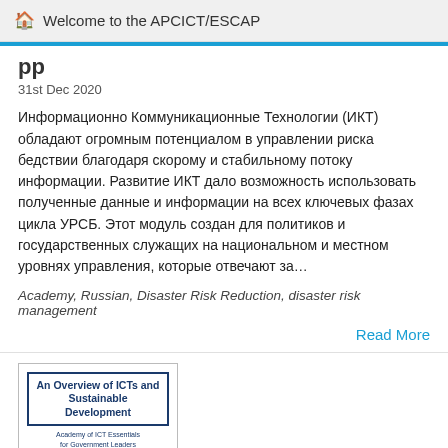Welcome to the APCICT/ESCAP
pp...
31st Dec 2020
Информационно Коммуникационные Технологии (ИКТ) обладают огромным потенциалом в управлении риска бедствии благодаря скорому и стабильному потоку информации. Развитие ИКТ дало возможность использовать полученные данные и информации на всех ключевых фазах цикла УРСБ. Этот модуль создан для политиков и государственных служащих на национальном и местном уровнях управления, которые отвечают за…
Academy, Russian, Disaster Risk Reduction, disaster risk management
Read More
[Figure (illustration): Book cover thumbnail: 'An Overview of ICTs and Sustainable Development' with Academy of ICT Essentials for Government Leaders subtitle, featuring a circular arc of icons above a globe/network diagram in dark blue and white.]